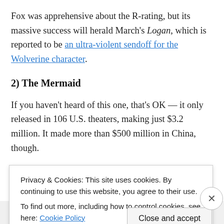Fox was apprehensive about the R-rating, but its massive success will herald March's Logan, which is reported to be an ultra-violent sendoff for the Wolverine character.
2) The Mermaid
If you haven't heard of this one, that's OK — it only released in 106 U.S. theaters, making just $3.2 million. It made more than $500 million in China, though.
Releasing on the Chinese New Year, The Mermaid
Privacy & Cookies: This site uses cookies. By continuing to use this website, you agree to their use. To find out more, including how to control cookies, see here: Cookie Policy
Close and accept